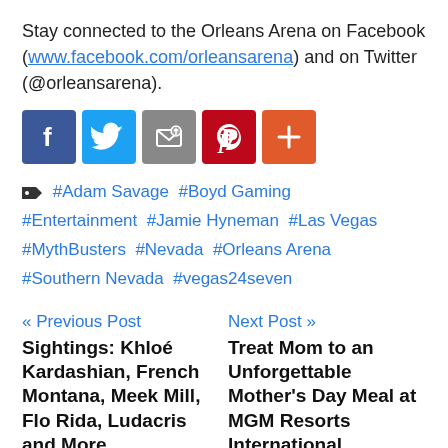Stay connected to the Orleans Arena on Facebook (www.facebook.com/orleansarena) and on Twitter (@orleansarena).
[Figure (infographic): Row of five social media share icons: Facebook (blue), Twitter (light blue), Email/share (gray), Pinterest (red), and a plus/add button (orange-red).]
#Adam Savage  #Boyd Gaming  #Entertainment  #Jamie Hyneman  #Las Vegas  #MythBusters  #Nevada  #Orleans Arena  #Southern Nevada  #vegas24seven
« Previous Post
Next Post »
Sightings: Khloé Kardashian, French Montana, Meek Mill, Flo Rida, Ludacris and More
Treat Mom to an Unforgettable Mother's Day Meal at MGM Resorts International